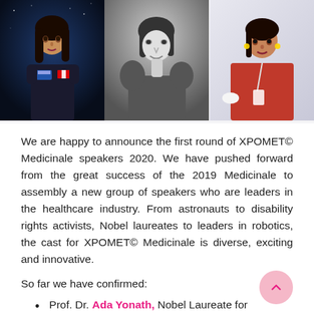[Figure (photo): Three photos of women speakers: left - woman in astronaut-style outfit with Canadian flag against blue space background; center - woman in black and white portrait smiling; right - woman in red sari with lanyard at a conference]
We are happy to announce the first round of XPOMET© Medicinale speakers 2020. We have pushed forward from the great success of the 2019 Medicinale to assembly a new group of speakers who are leaders in the healthcare industry. From astronauts to disability rights activists, Nobel laureates to leaders in robotics, the cast for XPOMET© Medicinale is diverse, exciting and innovative.
So far we have confirmed:
Prof. Dr. Ada Yonath, Nobel Laureate for Chemistry 2009
Dr. Shawna Pandya, a citizen-scientist astronaut